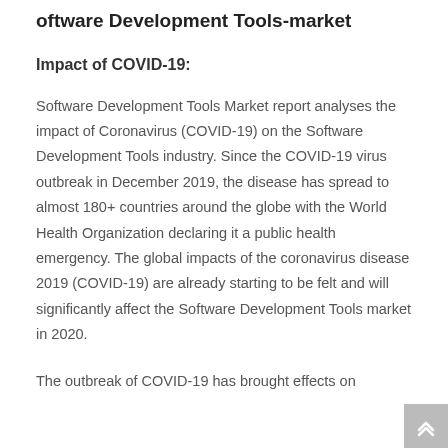oftware Development Tools-market
Impact of COVID-19:
Software Development Tools Market report analyses the impact of Coronavirus (COVID-19) on the Software Development Tools industry. Since the COVID-19 virus outbreak in December 2019, the disease has spread to almost 180+ countries around the globe with the World Health Organization declaring it a public health emergency. The global impacts of the coronavirus disease 2019 (COVID-19) are already starting to be felt and will significantly affect the Software Development Tools market in 2020.
The outbreak of COVID-19 has brought effects on